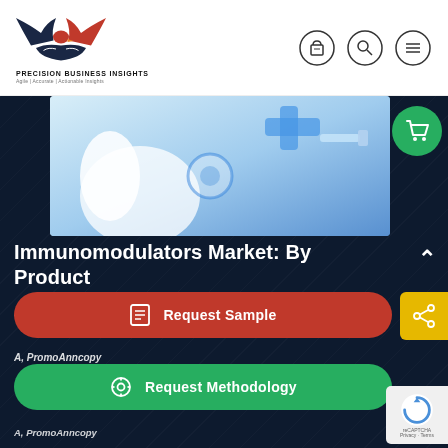[Figure (logo): Precision Business Insights logo with eagle/handshake graphic in red and dark blue, with text PRECISION BUSINESS INSIGHTS and tagline Agile | Accurate | Actionable Insights]
[Figure (illustration): Navigation icons: shopping bag, search/magnifier, and hamburger menu, each in a circle outline]
[Figure (photo): Medical hero image showing gloved hands with stethoscope and medical cross symbol, light blue tones]
[Figure (other): Green circle shopping cart button overlay on top right of hero image]
Immunomodulators Market: By Product
S, Darolmcann - Inhibito
[Figure (other): Red pill-shaped Request Sample button with document icon]
A, PromoAnncopy
[Figure (other): Green pill-shaped Request Methodology button with settings icon]
[Figure (other): Yellow share button with share icon on right side]
[Figure (other): reCAPTCHA badge on bottom right]